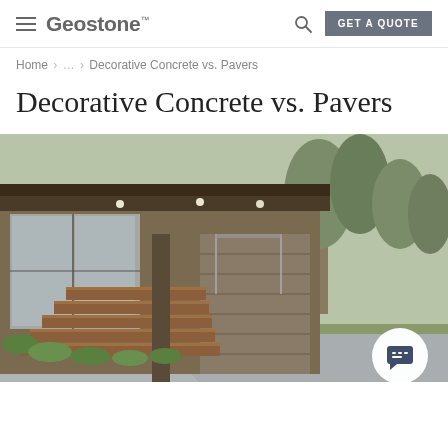Geostone™  GET A QUOTE
Home > ... > Decorative Concrete vs. Pavers
Decorative Concrete vs. Pavers
[Figure (photo): Exterior photo of a modern house with wooden steps, an outdoor deck area with ceiling lights, glass railings, lush greenery, and a concrete pathway in the foreground. A chat/message bubble icon overlays the bottom-right corner.]